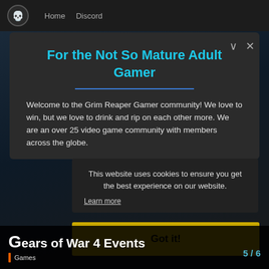Home  Discord
For the Not So Mature Adult Gamer
Welcome to the Grim Reaper Gamer community! We love to win, but we love to drink and rip on each other more. We are an over 25 video game community with members across the globe.
This website uses cookies to ensure you get the best experience on our website.
Learn more
Got it!
Gears of War 4 Events
Games
5 / 6